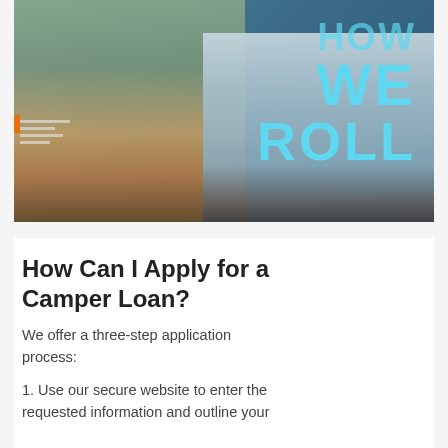[Figure (photo): A couple standing in front of a camper van. Text overlay reads 'HOW WE ROLL' in large cyan letters. Man in denim shirt and rust pants, woman in yellow dress and boots holding a pineapple.]
How Can I Apply for a Camper Loan?
We offer a three-step application process:
1. Use our secure website to enter the requested information and outline your